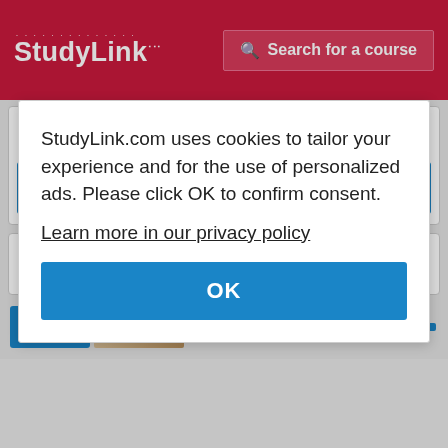StudyLink | Search for a course
University of Pécs
Find out more
[Figure (logo): ESRA International Film School logo]
StudyLink.com uses cookies to tailor your experience and for the use of personalized ads. Please click OK to confirm consent.
Learn more in our privacy policy
OK
Find...